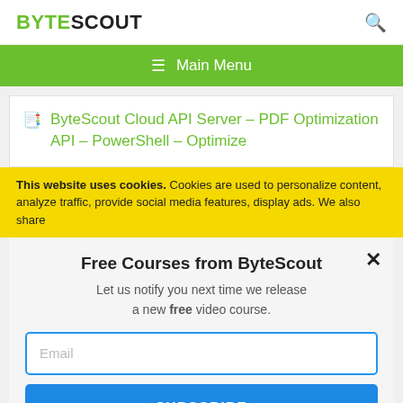BYTESCOUT
[Figure (screenshot): Green navigation bar with hamburger icon and Main Menu text]
ByteScout Cloud API Server – PDF Optimization API – PowerShell – Optimize
This website uses cookies. Cookies are used to personalize content, analyze traffic, provide social media features, display ads. We also share
Free Courses from ByteScout
Let us notify you next time we release a new free video course.
Email
SUBSCRIBE